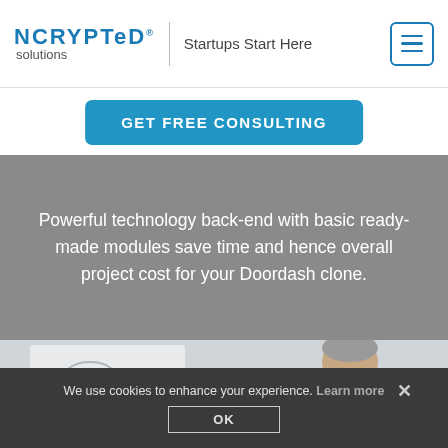NCRYPTeD solutions® | Startups Start Here
GET FREE CONSULTING
Powerful technology back-end with basic ready-made modules save time and hence overall project cost for your Doordash clone.
[Figure (photo): Business man in dark suit smiling, standing in front of a whiteboard, with other people seated in foreground]
We use cookies to enhance your experience. Learn more
OK